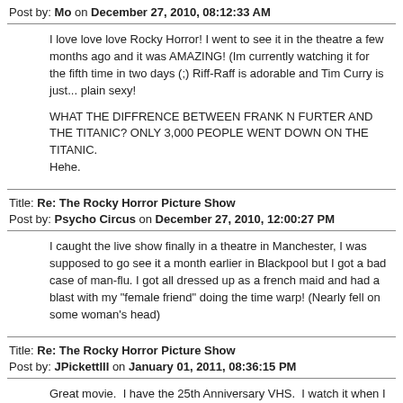Post by: Mo on December 27, 2010, 08:12:33 AM
I love love love Rocky Horror! I went to see it in the theatre a few months ago and it was AMAZING! (Im currently watching it for the fifth time in two days (;) Riff-Raff is adorable and Tim Curry is just... plain sexy!

WHAT THE DIFFRENCE BETWEEN FRANK N FURTER AND THE TITANIC? ONLY 3,000 PEOPLE WENT DOWN ON THE TITANIC.
Hehe.
Title: Re: The Rocky Horror Picture Show
Post by: Psycho Circus on December 27, 2010, 12:00:27 PM
I caught the live show finally in a theatre in Manchester, I was supposed to go see it a month earlier in Blackpool but I got a bad case of man-flu. I got all dressed up as a french maid and had a blast with my "female friend" doing the time warp! (Nearly fell on some woman's head)
Title: Re: The Rocky Horror Picture Show
Post by: JPickettIII on January 01, 2011, 08:36:15 PM
Great movie.  I have the 25th Anniversary VHS.  I watch it when I can.

I high recommend it.